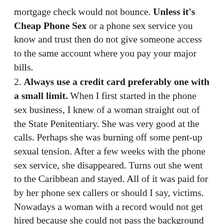mortgage check would not bounce. Unless it's Cheap Phone Sex or a phone sex service you know and trust then do not give someone access to the same account where you pay your major bills.
2. Always use a credit card preferably one with a small limit. When I first started in the phone sex business, I knew of a woman straight out of the State Penitentiary. She was very good at the calls. Perhaps she was burning off some pent-up sexual tension. After a few weeks with the phone sex service, she disappeared. Turns out she went to the Caribbean and stayed. All of it was paid for by her phone sex callers or should I say, victims. Nowadays a woman with a record would not get hired because she could not pass the background test. Dispatchers are bonded as am I. This is what I do with my low limit credit card. I have a “me” card. It has a $300 limit and I use it for internet purchases. I bought some mace from a company I never heard of